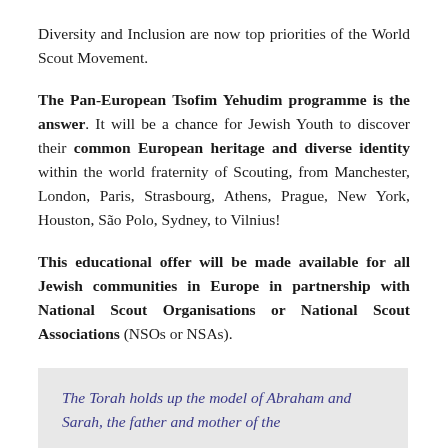Diversity and Inclusion are now top priorities of the World Scout Movement.
The Pan-European Tsofim Yehudim programme is the answer. It will be a chance for Jewish Youth to discover their common European heritage and diverse identity within the world fraternity of Scouting, from Manchester, London, Paris, Strasbourg, Athens, Prague, New York, Houston, São Polo, Sydney, to Vilnius!
This educational offer will be made available for all Jewish communities in Europe in partnership with National Scout Organisations or National Scout Associations (NSOs or NSAs).
The Torah holds up the model of Abraham and Sarah, the father and mother of the